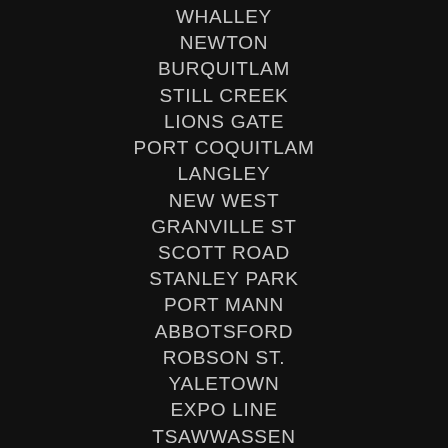WHALLEY
NEWTON
BURQUITLAM
STILL CREEK
LIONS GATE
PORT COQUITLAM
LANGLEY
NEW WEST
GRANVILLE ST
SCOTT ROAD
STANLEY PARK
PORT MANN
ABBOTSFORD
ROBSON ST.
YALETOWN
EXPO LINE
TSAWWASSEN
NORTH SURREY
RICHMOND
PORT MOODY